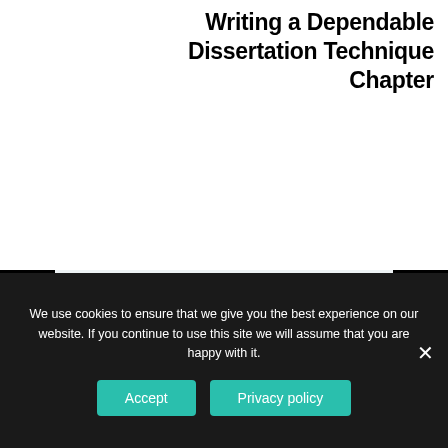Writing a Dependable Dissertation Technique Chapter
About us
Feedback
Privacy Policy
Terms and Conditions
PREVIOUS POST
NEXT POST
We use cookies to ensure that we give you the best experience on our website. If you continue to use this site we will assume that you are happy with it.
Accept
Privacy policy